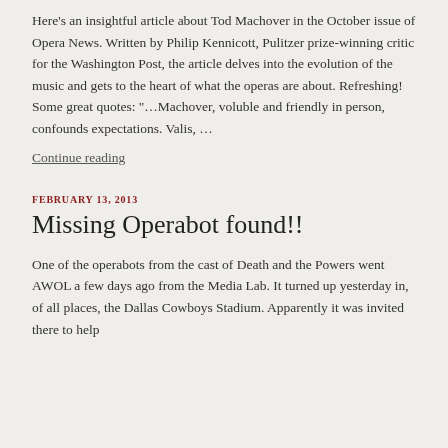Here's an insightful article about Tod Machover in the October issue of Opera News. Written by Philip Kennicott, Pulitzer prize-winning critic for the Washington Post, the article delves into the evolution of the music and gets to the heart of what the operas are about. Refreshing! Some great quotes: "...Machover, voluble and friendly in person, confounds expectations. Valis, ...
Continue reading
FEBRUARY 13, 2013
Missing Operabot found!!
One of the operabots from the cast of Death and the Powers went AWOL a few days ago from the Media Lab. It turned up yesterday in, of all places, the Dallas Cowboys Stadium. Apparently it was invited there to help